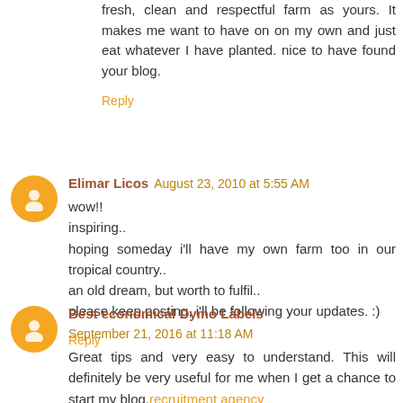fresh, clean and respectful farm as yours. It makes me want to have on on my own and just eat whatever I have planted. nice to have found your blog.
Reply
Elimar Licos  August 23, 2010 at 5:55 AM
wow!!
inspiring..
hoping someday i'll have my own farm too in our tropical country..
an old dream, but worth to fulfil..
please keep posting, i'll be following your updates. :)
Reply
Best economical Dymo Labels  September 21, 2016 at 11:18 AM
Great tips and very easy to understand. This will definitely be very useful for me when I get a chance to start my blog. recruitment agency